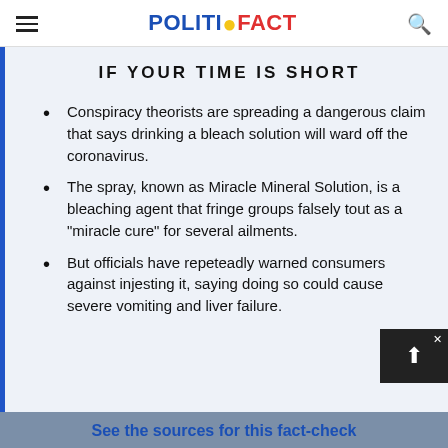POLITIFACT
IF YOUR TIME IS SHORT
Conspiracy theorists are spreading a dangerous claim that says drinking a bleach solution will ward off the coronavirus.
The spray, known as Miracle Mineral Solution, is a bleaching agent that fringe groups falsely tout as a "miracle cure" for several ailments.
But officials have repeteadly warned consumers against injesting it, saying doing so could cause severe vomiting and liver failure.
See the sources for this fact-check